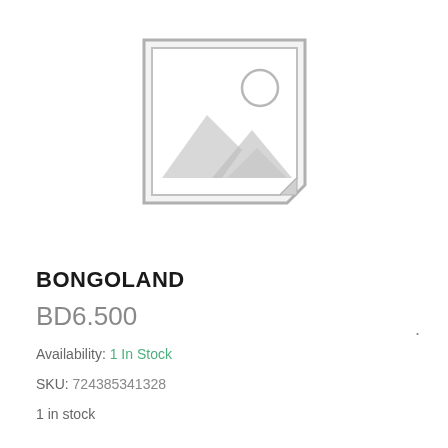[Figure (illustration): Placeholder image icon: a square outline with a notch at the bottom-right corner, containing a mountain landscape silhouette and a circle representing the sun, all drawn in light gray sketch style.]
BONGOLAND
BD6.500
Availability: 1 In Stock
SKU: 724385341328
1 in stock